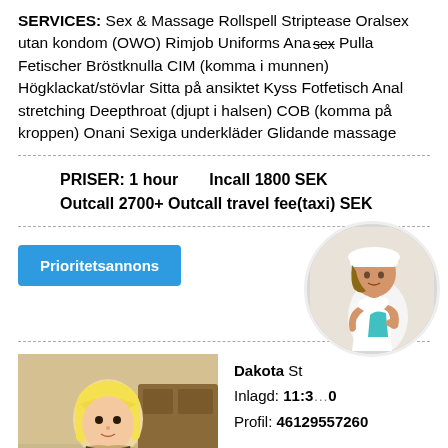SERVICES: Sex & Massage Rollspell Striptease Oralsex utan kondom (OWO) Rimjob Uniforms Analsex Pulla Fetischer Bröstknulla CIM (komma i munnen) Högklackat/stövlar Sitta på ansiktet Kyss Fotfetisch Anal stretching Deepthroat (djupt i halsen) COB (komma på kroppen) Onani Sexiga underkläder Glidande massage
PRISER: 1 hour    Incall 1800 SEK
Outcall 2700+ Outcall travel fee(taxi) SEK
Prioritetsannons
Dakota St...
Inlagd: 11:3...0
Profil: 46129557260